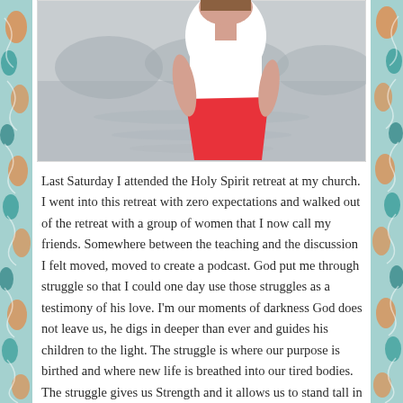[Figure (photo): A woman wearing a white top and red skirt standing near a reflective body of water. The image is cropped to show her torso and partial figure.]
Last Saturday I attended the Holy Spirit retreat at my church. I went into this retreat with zero expectations and walked out of the retreat with a group of women that I now call my friends. Somewhere between the teaching and the discussion I felt moved, moved to create a podcast. God put me through struggle so that I could one day use those struggles as a testimony of his love. I'm our moments of darkness God does not leave us, he digs in deeper than ever and guides his children to the light. The struggle is where our purpose is birthed and where new life is breathed into our tired bodies. The struggle gives us Strength and it allows us to stand tall in our faith. Without the seasons of